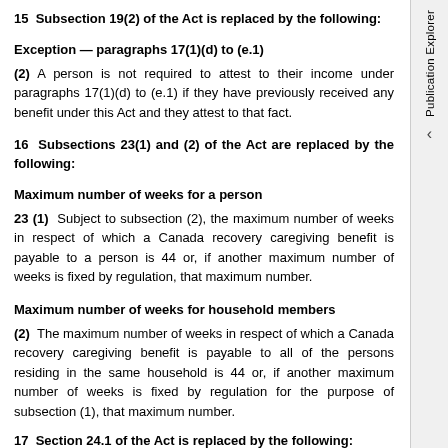15  Subsection 19(2) of the Act is replaced by the following:
Exception — paragraphs 17(1)(d) to (e.1)
(2) A person is not required to attest to their income under paragraphs 17(1)(d) to (e.1) if they have previously received any benefit under this Act and they attest to that fact.
16  Subsections 23(1) and (2) of the Act are replaced by the following:
Maximum number of weeks for a person
23 (1)  Subject to subsection (2), the maximum number of weeks in respect of which a Canada recovery caregiving benefit is payable to a person is 44 or, if another maximum number of weeks is fixed by regulation, that maximum number.
Maximum number of weeks for household members
(2)  The maximum number of weeks in respect of which a Canada recovery caregiving benefit is payable to all of the persons residing in the same household is 44 or, if another maximum number of weeks is fixed by regulation for the purpose of subsection (1), that maximum number.
17  Section 24.1 of the Act is replaced by the following: